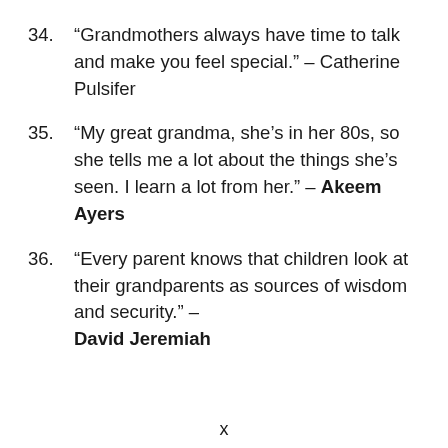34. “Grandmothers always have time to talk and make you feel special.” – Catherine Pulsifer
35. “My great grandma, she’s in her 80s, so she tells me a lot about the things she’s seen. I learn a lot from her.” – Akeem Ayers
36. “Every parent knows that children look at their grandparents as sources of wisdom and security.” – David Jeremiah
x